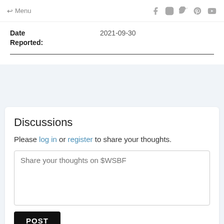← Menu
| Date Reported: |  |
| --- | --- |
| Date Reported: | 2021-09-30 |
Discussions
Please log in or register to share your thoughts.
Share your thoughts on $WSBF